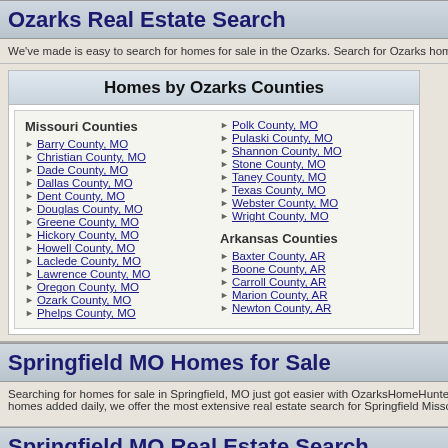Ozarks Real Estate Search
We've made is easy to search for homes for sale in the Ozarks. Search for Ozarks home...
Homes by Ozarks Counties
Missouri Counties
Barry County, MO
Christian County, MO
Dade County, MO
Dallas County, MO
Dent County, MO
Douglas County, MO
Greene County, MO
Hickory County, MO
Howell County, MO
Laclede County, MO
Lawrence County, MO
Oregon County, MO
Ozark County, MO
Phelps County, MO
Polk County, MO
Pulaski County, MO
Shannon County, MO
Stone County, MO
Taney County, MO
Texas County, MO
Webster County, MO
Wright County, MO
Arkansas Counties
Baxter County, AR
Boone County, AR
Carroll County, AR
Marion County, AR
Newton County, AR
Springfield MO Homes for Sale
Searching for homes for sale in Springfield, MO just got easier with OzarksHomeHunter... homes added daily, we offer the most extensive real estate search for Springfield Missou...
Springfield MO Real Estate Search